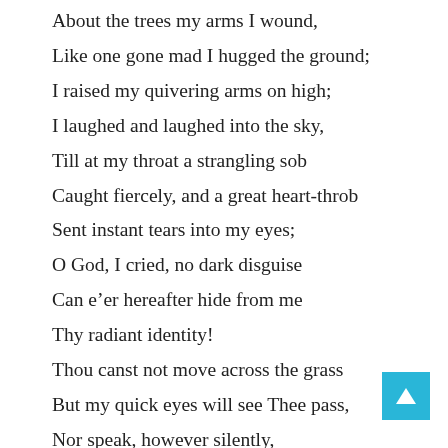About the trees my arms I wound,
Like one gone mad I hugged the ground;
I raised my quivering arms on high;
I laughed and laughed into the sky,
Till at my throat a strangling sob
Caught fiercely, and a great heart-throb
Sent instant tears into my eyes;
O God, I cried, no dark disguise
Can e’er hereafter hide from me
Thy radiant identity!
Thou canst not move across the grass
But my quick eyes will see Thee pass,
Nor speak, however silently,
But my hushed voice will answer Thee.
I know the path that tells Thy way
Through the...